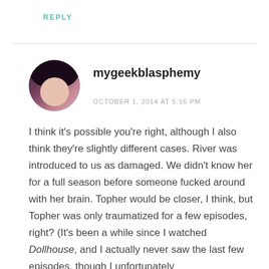REPLY
[Figure (photo): Circular avatar photo of a person with dark hair and glasses]
mygeekblasphemy
OCTOBER 1, 2014 AT 5:16 PM
I think it’s possible you’re right, although I also think they’re slightly different cases. River was introduced to us as damaged. We didn’t know her for a full season before someone fucked around with her brain. Topher would be closer, I think, but Topher was only traumatized for a few episodes, right? (It’s been a while since I watched Dollhouse, and I actually never saw the last few episodes, though I unfortunately